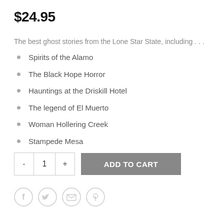$24.95
The best ghost stories from the Lone Star State, including . . .
Spirits of the Alamo
The Black Hope Horror
Hauntings at the Driskill Hotel
The legend of El Muerto
Woman Hollering Creek
Stampede Mesa
- 1 + ADD TO CART
[Figure (other): Social sharing icons: Facebook, Twitter, Email, Pinterest]